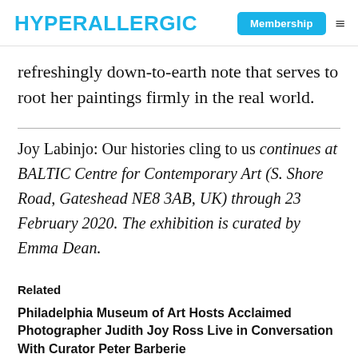HYPERALLERGIC | Membership
refreshingly down-to-earth note that serves to root her paintings firmly in the real world.
Joy Labinjo: Our histories cling to us continues at BALTIC Centre for Contemporary Art (S. Shore Road, Gateshead NE8 3AB, UK) through 23 February 2020. The exhibition is curated by Emma Dean.
Related
Philadelphia Museum of Art Hosts Acclaimed Photographer Judith Joy Ross Live in Conversation With Curator Peter Barberie